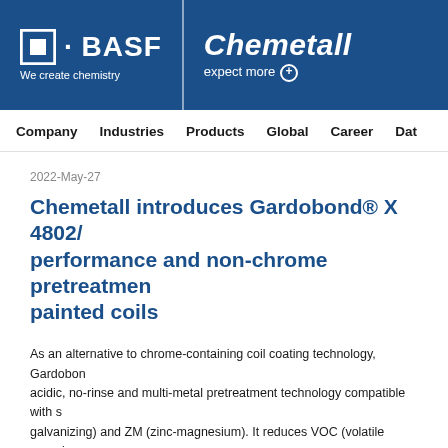BASF | Chemetall — We create chemistry | expect more+
Company   Industries   Products   Global   Career   Dat
2022-May-27
Chemetall introduces Gardobond® X 4802A — performance and non-chrome pretreatment for pre-painted coils
As an alternative to chrome-containing coil coating technology, Gardobond acidic, no-rinse and multi-metal pretreatment technology compatible with s galvanizing) and ZM (zinc-magnesium). It reduces VOC (volatile organic co highest market standards for pre-painted coils used in construction and ho